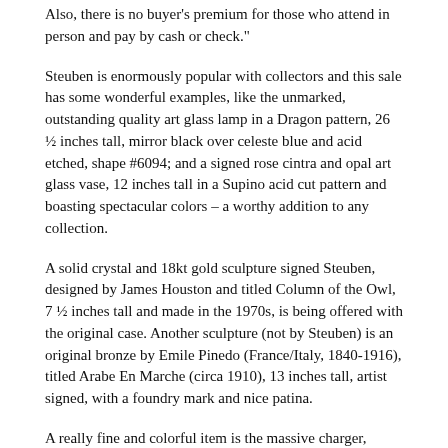Also, there is no buyer's premium for those who attend in person and pay by cash or check."
Steuben is enormously popular with collectors and this sale has some wonderful examples, like the unmarked, outstanding quality art glass lamp in a Dragon pattern, 26 ½ inches tall, mirror black over celeste blue and acid etched, shape #6094; and a signed rose cintra and opal art glass vase, 12 inches tall in a Supino acid cut pattern and boasting spectacular colors – a worthy addition to any collection.
A solid crystal and 18kt gold sculpture signed Steuben, designed by James Houston and titled Column of the Owl, 7 ½ inches tall and made in the 1970s, is being offered with the original case. Another sculpture (not by Steuben) is an original bronze by Emile Pinedo (France/Italy, 1840-1916), titled Arabe En Marche (circa 1910), 13 inches tall, artist signed, with a foundry mark and nice patina.
A really fine and colorful item is the massive charger, marked Mettlach (#2607), 17 ½ inches in diameter, with